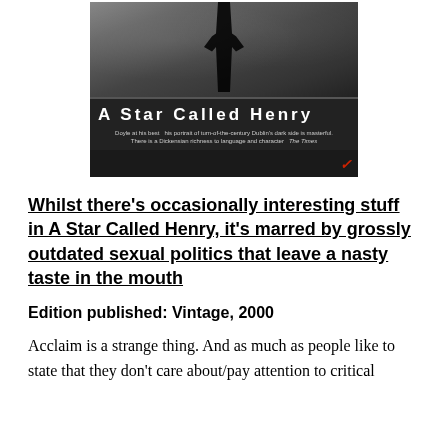[Figure (photo): Book cover of 'A Star Called Henry' — black and white photograph of a crowd scene at top, with large white bold text 'A Star Called Henry' below, a quote about Doyle and The Times, and a red Vintage publisher logo at bottom right.]
Whilst there’s occasionally interesting stuff in A Star Called Henry, it’s marred by grossly outdated sexual politics that leave a nasty taste in the mouth
Edition published: Vintage, 2000
Acclaim is a strange thing. And as much as people like to state that they don’t care about/pay attention to critical